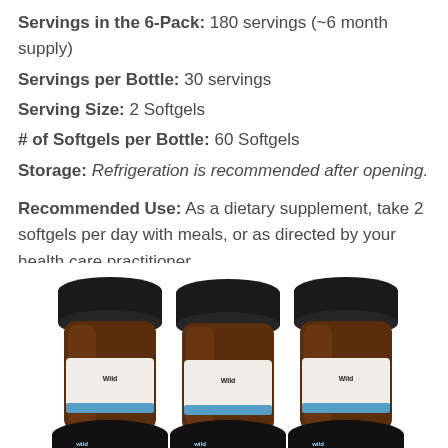Servings in the 6-Pack: 180 servings (~6 month supply)
Servings per Bottle: 30 servings
Serving Size: 2 Softgels
# of Softgels per Bottle: 60 Softgels
Storage: Refrigeration is recommended after opening.

Recommended Use: As a dietary supplement, take 2 softgels per day with meals, or as directed by your health care practitioner.
[Figure (photo): Three amber glass supplement bottles with black caps and white/blue labels, showing 'Wild' branding, arranged side by side.]